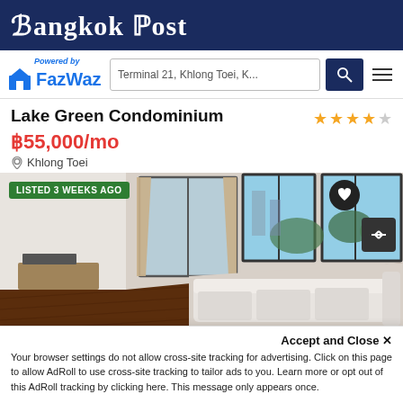Bangkok Post
[Figure (logo): FazWaz powered by logo with search bar showing 'Terminal 21, Khlong Toei, K...' and search/menu buttons]
Lake Green Condominium
฿55,000/mo
Khlong Toei
[Figure (photo): Interior photo of a condominium living room with a white L-shaped sofa, dark hardwood floors, large floor-to-ceiling windows with city and greenery view, TV console. Badge: LISTED 3 WEEKS AGO]
Accept and Close ×
Your browser settings do not allow cross-site tracking for advertising. Click on this page to allow AdRoll to use cross-site tracking to tailor ads to you. Learn more or opt out of this AdRoll tracking by clicking here. This message only appears once.